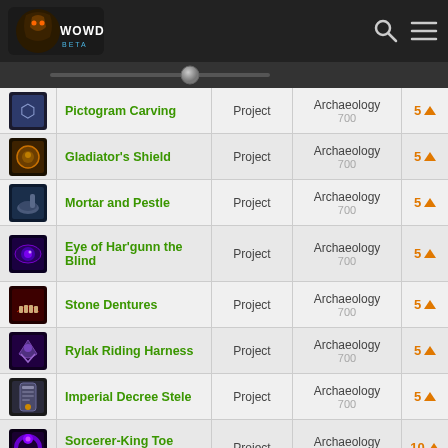WOWDB BETA
| Icon | Name | Type | Skill | Count |
| --- | --- | --- | --- | --- |
| [icon] | Pictogram Carving | Project | Archaeology 700 | 5 |
| [icon] | Gladiator's Shield | Project | Archaeology 700 | 5 |
| [icon] | Mortar and Pestle | Project | Archaeology 700 | 5 |
| [icon] | Eye of Har'gunn the Blind | Project | Archaeology 700 | 5 |
| [icon] | Stone Dentures | Project | Archaeology 700 | 5 |
| [icon] | Rylak Riding Harness | Project | Archaeology 700 | 5 |
| [icon] | Imperial Decree Stele | Project | Archaeology 700 | 5 |
| [icon] | Sorcerer-King Toe Ring | Project | Archaeology 700 | 10 |